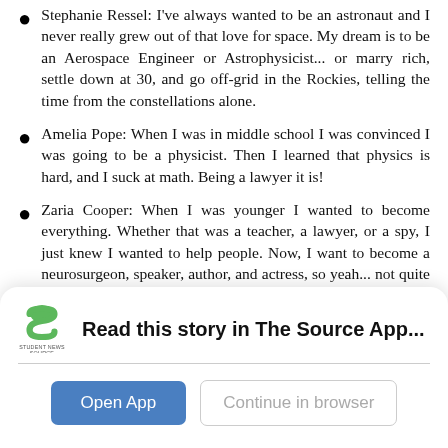Stephanie Ressel: I've always wanted to be an astronaut and I never really grew out of that love for space. My dream is to be an Aerospace Engineer or Astrophysicist... or marry rich, settle down at 30, and go off-grid in the Rockies, telling the time from the constellations alone.
Amelia Pope: When I was in middle school I was convinced I was going to be a physicist. Then I learned that physics is hard, and I suck at math. Being a lawyer it is!
Zaria Cooper: When I was younger I wanted to become everything. Whether that was a teacher, a lawyer, or a spy, I just knew I wanted to help people. Now, I want to become a neurosurgeon, speaker, author, and actress, so yeah... not quite what my younger self was thinking lol.
Kevin Liu: Before: cure cancer. Now: make drugs.
Regan Carroll: Growing up, I dreamed of living in New York City. As an eighteen year old, I still have this dream, and I am
[Figure (logo): Student News Source app logo — green stylized 'S' icon with 'Student News Source' text below]
Read this story in The Source App...
Open App   Continue in browser